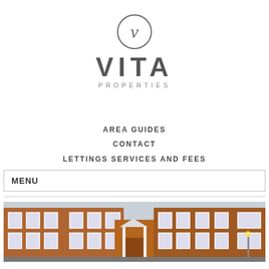[Figure (logo): Vita Properties logo: circle with stylized V lettermark above the text VITA in large caps and PROPERTIES in small caps below]
AREA GUIDES
CONTACT
LETTINGS SERVICES AND FEES
MENU
[Figure (photo): Photograph of a red-brick residential apartment building facade with white-framed sash windows and a white columned entrance doorway]